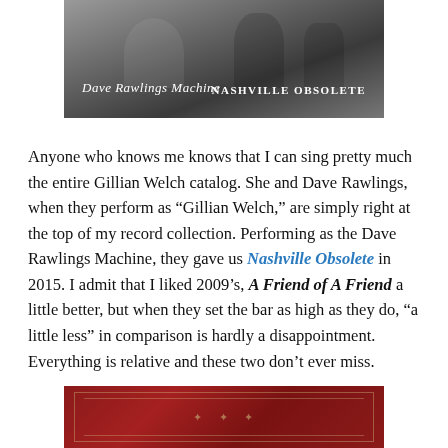[Figure (photo): Black and white album cover photo for Dave Rawlings Machine 'Nashville Obsolete'. Shows two figures in an outdoor setting. Script text reads 'Dave Rawlings Machine' and bold text reads 'NASHVILLE OBSOLETE'.]
Anyone who knows me knows that I can sing pretty much the entire Gillian Welch catalog. She and Dave Rawlings, when they perform as "Gillian Welch," are simply right at the top of my record collection. Performing as the Dave Rawlings Machine, they gave us Nashville Obsolete in 2015. I admit that I liked 2009's, A Friend of A Friend a little better, but when they set the bar as high as they do, "a little less" in comparison is hardly a disappointment. Everything is relative and these two don't ever miss.
[Figure (photo): Red decorative book or album cover with gold ornamental border design.]